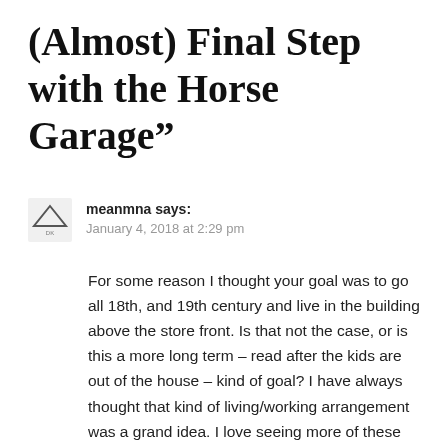(Almost) Final Step with the Horse Garage”
meanmna says:
January 4, 2018 at 2:29 pm
For some reason I thought your goal was to go all 18th, and 19th century and live in the building above the store front. Is that not the case, or is this a more long term – read after the kids are out of the house – kind of goal? I have always thought that kind of living/working arrangement was a grand idea. I love seeing more of these “village” style communities popping back up and wonder if it is going to be just a fad, or is it